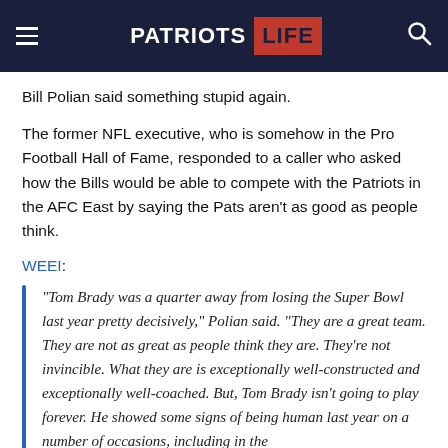Patriots Life
Bill Polian said something stupid again.
The former NFL executive, who is somehow in the Pro Football Hall of Fame, responded to a caller who asked how the Bills would be able to compete with the Patriots in the AFC East by saying the Pats aren't as good as people think.
WEEI:
“Tom Brady was a quarter away from losing the Super Bowl last year pretty decisively,” Polian said. “They are a great team. They are not as great as people think they are. They’re not invincible. What they are is exceptionally well-constructed and exceptionally well-coached. But, Tom Brady isn’t going to play forever. He showed some signs of being human last year on a number of occasions, including in the